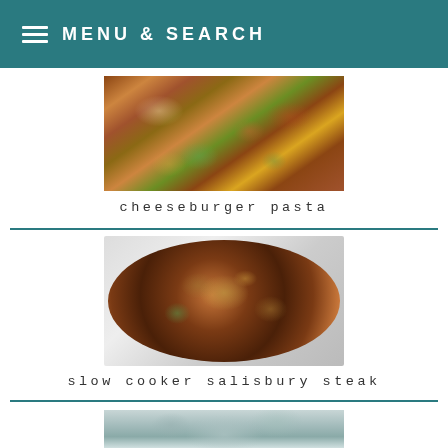MENU & SEARCH
[Figure (photo): Close-up photo of cheeseburger pasta in a bowl with shell pasta, ground beef, green onions, corn, and tomatoes]
cheeseburger pasta
[Figure (photo): Close-up photo of slow cooker salisbury steak with mushrooms and green vegetables in a white round dish]
slow cooker salisbury steak
[Figure (photo): Partial photo of a casserole dish with a creamy dish, cut off at bottom of page]